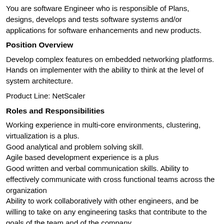You are software Engineer who is responsible of Plans, designs, develops and tests software systems and/or applications for software enhancements and new products.
Position Overview
Develop complex features on embedded networking platforms. Hands on implementer with the ability to think at the level of system architecture.
Product Line: NetScaler
Roles and Responsibilities
Working experience in multi-core environments, clustering, virtualization is a plus.
Good analytical and problem solving skill.
Agile based development experience is a plus
Good written and verbal communication skills. Ability to effectively communicate with cross functional teams across the organization
Ability to work collaboratively with other engineers, and be willing to take on any engineering tasks that contribute to the goals of the team and of the company.
Energetic, self-motivated individual with ability to prioritize tasks.
Should have the ability to deliver high quality software under